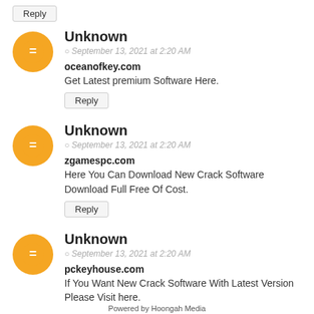Reply
Unknown
September 13, 2021 at 2:20 AM
oceanofkey.com
Get Latest premium Software Here.
Reply
Unknown
September 13, 2021 at 2:20 AM
zgamespc.com
Here You Can Download New Crack Software Download Full Free Of Cost.
Reply
Unknown
September 13, 2021 at 2:20 AM
pckeyhouse.com
If You Want New Crack Software With Latest Version Please Visit here.
Powered by Hoongah Media